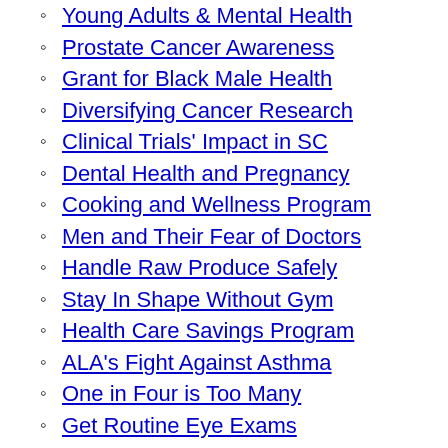Young Adults & Mental Health
Prostate Cancer Awareness
Grant for Black Male Health
Diversifying Cancer Research
Clinical Trials' Impact in SC
Dental Health and Pregnancy
Cooking and Wellness Program
Men and Their Fear of Doctors
Handle Raw Produce Safely
Stay In Shape Without Gym
Health Care Savings Program
ALA's Fight Against Asthma
One in Four is Too Many
Get Routine Eye Exams
Youth Suicide Problem